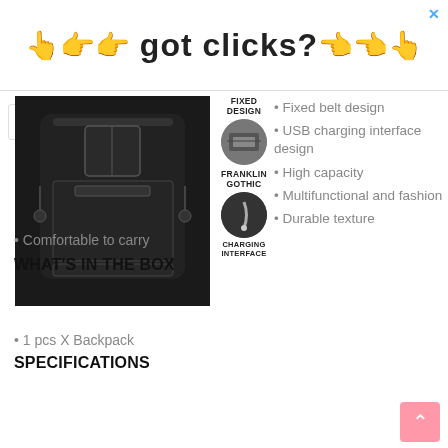[Figure (photo): Advertisement banner with pixel-art pointing hands and text 'got clicks?']
[Figure (photo): Black backpack product photo]
[Figure (photo): Product detail image labeled FIXED DESIGN with circular inset showing inside of bag]
[Figure (photo): Product detail image labeled FRANKLIN GOTHIC with circular inset, and CHARGING INTERFACE below]
Fixed belt design
USB charging interface design
High capacity
Multifunctional and fashion
Durable texture
Comfortable to carry
WHAT'S IN THE BOX
1 pcs X Backpack
SPECIFICATIONS